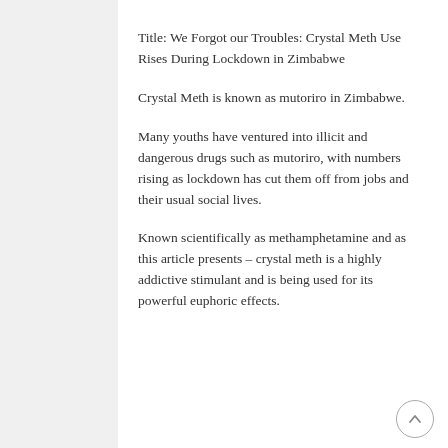Title: We Forgot our Troubles: Crystal Meth Use Rises During Lockdown in Zimbabwe
Crystal Meth is known as mutoriro in Zimbabwe.
Many youths have ventured into illicit and dangerous drugs such as mutoriro, with numbers rising as lockdown has cut them off from jobs and their usual social lives.
Known scientifically as methamphetamine and as this article presents – crystal meth is a highly addictive stimulant and is being used for its powerful euphoric effects.